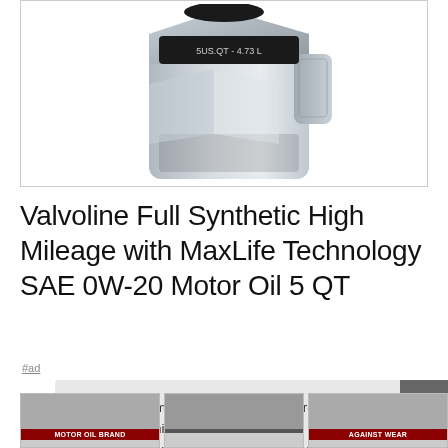[Figure (photo): Valvoline Full Synthetic High Mileage motor oil bottle, 5 QT / 4.73L, silver/gray container with geometric design]
Valvoline Full Synthetic High Mileage with MaxLife Technology SAE 0W-20 Motor Oil 5 QT
#ad
As an Amazon Associate I earn from qualifying purchases. This website uses the only necessary cookies to ensure you get the best experience on our website. More information